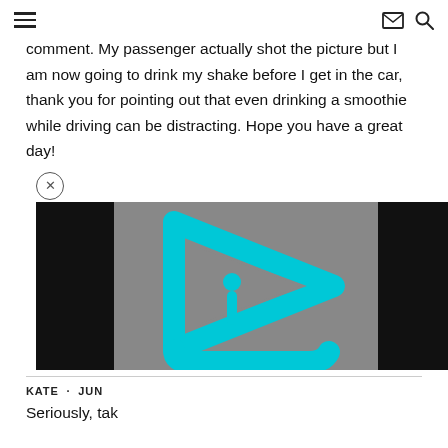≡  ✉  🔍
comment. My passenger actually shot the picture but I am now going to drink my shake before I get in the car, thank you for pointing out that even drinking a smoothie while driving can be distracting. Hope you have a great day!
[Figure (screenshot): Video player overlay with a cyan/teal triangular play button logo on a gray background, with black bars on the left and right sides. A close (×) button appears above the video.]
KATE · JUN
Seriously, tak